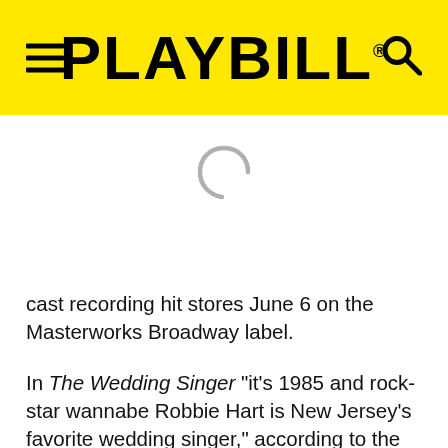PLAYBILL
cast recording hit stores June 6 on the Masterworks Broadway label.
In The Wedding Singer "it's 1985 and rock-star wannabe Robbie Hart is New Jersey's favorite wedding singer," according to the producers. "He's the life of the party-until his own fiancée leaves him at the altar. Shot through the heart, Robbie makes every wedding he plays as disastrous as his own. Enter Julia, a winsome waitress who wins his affection. Only trouble is Julia is about to be married to a Wall Street shark, and unless Robbie can pull off the performance of the decade, the girl of his dreams will be gone forever. With a brand new score that pays loving homage to the pop songs of the 1980s, The Wedding Singer takes us back to a time when hair was big, greed